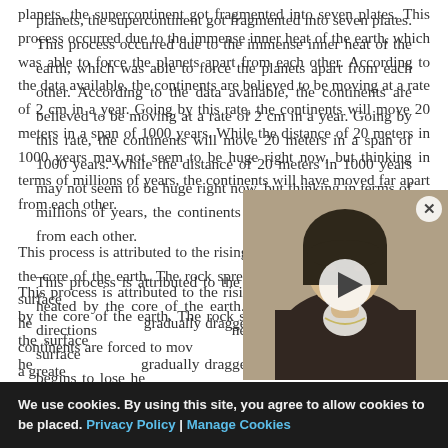planets, the supercontinent got fragmented into seven plates. This process occurred due to the immense inner heat of the earth, which was able to force the planets apart from each other. According to the data available, the continents are believed to be moving at a rate of 2 cm in a year. Going by this rate, the continents will move 20 meters in a span of 1000 years. While the distance of 20 meters in 1000 years may not seem to be huge right now, but thinking in terms of millions of years, the continents will have moved far apart from each other.
This process is attributed to the rising of hot rock, as it is heated by the core of the earth. The rock spreads in two directions near the surface sideways, it begins to lose he gradually dragged apart due continents are forced to mov has cooled down to a greate
[Figure (photo): Video thumbnail of a woman with dark hair wearing a dark jacket, with a play button overlay. Part of an inline video advertisement or media player.]
We use cookies. By using this site, you agree to allow cookies to be placed. Privacy Policy | Manage Cookies